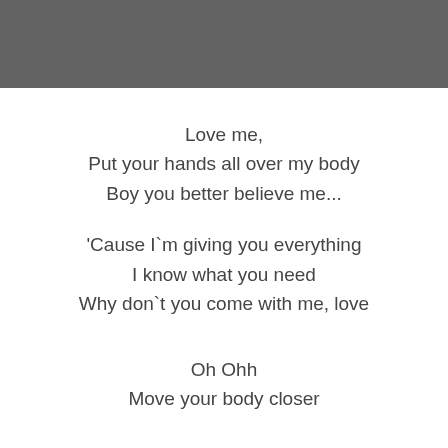Love me,
Put your hands all over my body
Boy you better believe me...
'Cause I`m giving you everything
I know what you need
Why don`t you come with me, love
Oh Ohh
Move your body closer